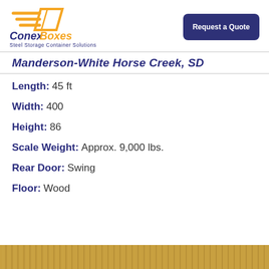[Figure (logo): ConexBoxes logo with orange arrow/box graphic and tagline 'Steel Storage Container Solutions']
Request a Quote
Manderson-White Horse Creek, SD
Length: 45 ft
Width: 400
Height: 86
Scale Weight: Approx. 9,000 lbs.
Rear Door: Swing
Floor: Wood
[Figure (photo): Bottom strip showing a tan/yellow corrugated shipping container]